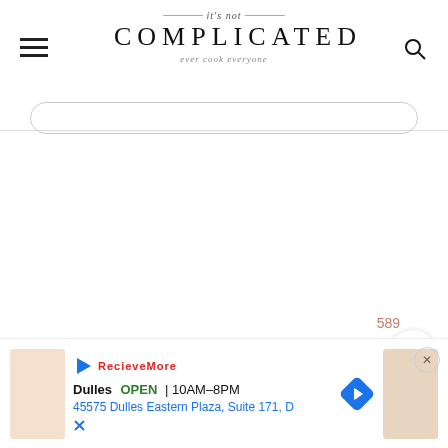it's not COMPLICATED · ever cook everyone
[Figure (screenshot): White blank content area in the middle of the page]
589
[Figure (other): Heart (like/save) button, circular white with pink heart icon]
[Figure (other): Search button, circular salmon/terracotta colored with white search icon]
Dulles  OPEN  10AM–8PM  45575 Dulles Eastern Plaza, Suite 171, D